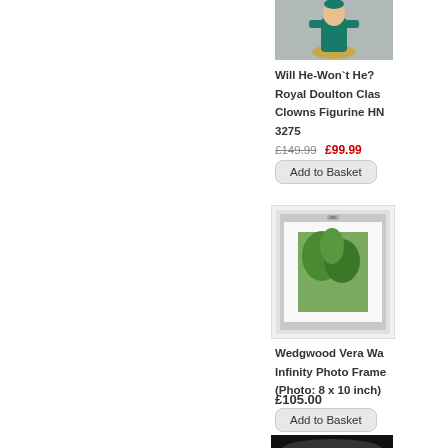[Figure (photo): Royal Doulton clown figurine in teal/green on beige base, partially cropped]
Will He-Won`t He? Royal Doulton Class Clowns Figurine HN 3275
£149.99 £99.99
Add to Basket
[Figure (photo): Wedgwood Vera Wang Infinity Photo Frame with green floral image inside, white/silver frame]
Wedgwood Vera Wa Infinity Photo Frame (Photo: 8 x 10 inch)
£105.00
Add to Basket
[Figure (photo): Partial image of a third product, dark/black item, cropped at bottom of page]